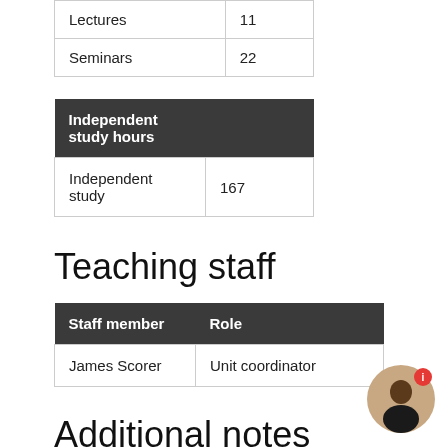| Lectures | 11 |
| Seminars | 22 |
| Independent study hours |  |
| --- | --- |
| Independent study | 167 |
Teaching staff
| Staff member | Role |
| --- | --- |
| James Scorer | Unit coordinator |
Additional notes
The language of instruction and assessment for this unit will be English. All primary materials will be